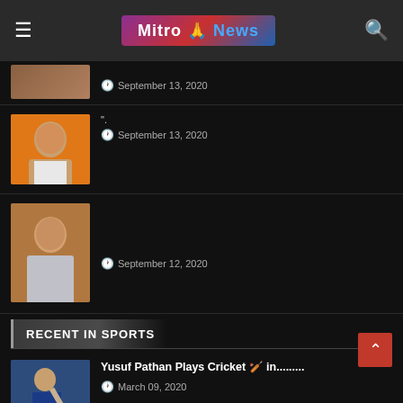Mitro News
September 13, 2020
[Figure (photo): Portrait photo of a man against orange background]
September 13, 2020
[Figure (photo): Photo of a woman]
September 12, 2020
RECENT IN SPORTS
[Figure (photo): Cricket player batting]
Yusuf Pathan Plays Cricket 🏏 in.........
March 09, 2020
[Figure (photo): Indian boxer Amit Panghal]
Amit Panghal Clear Asian Olympic Qualifiers Round | Indian Boxer